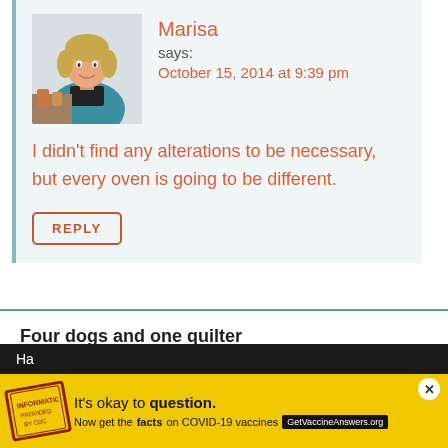[Figure (photo): Profile photo of Marisa, a woman wearing a blue cardigan]
Marisa
says:
October 15, 2014 at 9:39 pm
I didn't find any alterations to be necessary, but every oven is going to be different.
REPLY
Four dogs and one quilter
says:
October 15, 2014 at 10:09 pm
[Figure (infographic): Advertisement: It's okay to question. Now get the facts on COVID-19 vaccines. GetVaccineAnswers.org]